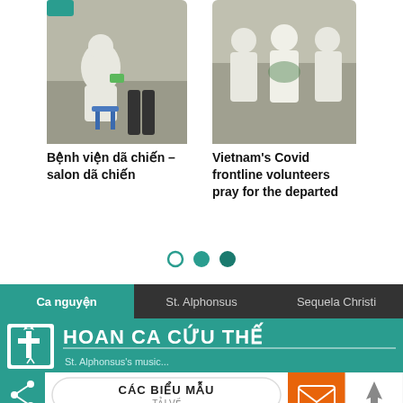[Figure (photo): Person in white PPE hazmat suit sitting next to another person on a blue stool in a field hospital setting]
[Figure (photo): Three people in white PPE hazmat suits standing together, Vietnam Covid frontline volunteers]
Bệnh viện dã chiến – salon dã chiến
Vietnam's Covid frontline volunteers pray for the departed
[Figure (infographic): Carousel pagination dots: one empty circle, one filled teal circle, one filled dark teal circle]
[Figure (screenshot): App navigation bar with tabs: Ca nguyện (active, teal), St. Alphonsus (dark), Sequela Christi (dark)]
[Figure (logo): Hoan Ca Cứu Thế banner with cross logo on teal background, subtitle: St. Alphonsus's music...]
[Figure (infographic): Bottom action bar with share icon, CÁC BIỂU MẪU / TẢI VỀ button, mail icon (orange), and up arrow icon]